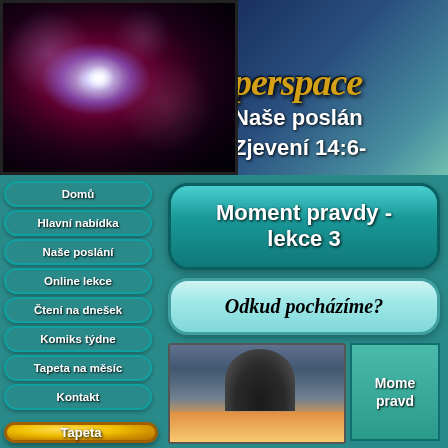[Figure (photo): Space/nebula image with bright central star burst and cosmic red/purple clouds on the left side of banner]
[Figure (illustration): Right banner with angelic figure, text 'perspace', 'Naše poslání', 'Zjevení 14:6-' on teal/blue background]
Domů
Hlavní nabídka
Naše poslání
Online lekce
Čtení na dnešek
Komiks týdne
Tapeta na měsíc
Kontakt
Moment pravdy - lekce 3
Odkud pocházíme?
[Figure (photo): Rocky silhouette against sunset/sunrise sky, orange and golden tones]
Mome pravd